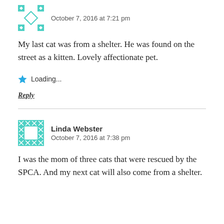October 7, 2016 at 7:21 pm
My last cat was from a shelter. He was found on the street as a kitten. Lovely affectionate pet.
Loading...
Reply
Linda Webster
October 7, 2016 at 7:38 pm
I was the mom of three cats that were rescued by the SPCA. And my next cat will also come from a shelter.